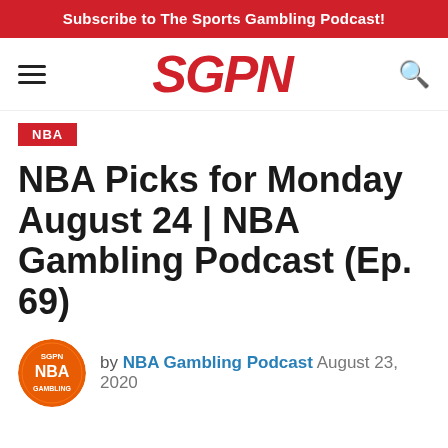Subscribe to The Sports Gambling Podcast!
[Figure (logo): SGPN logo in red italic bold text, navigation bar with hamburger menu and search icon]
NBA
NBA Picks for Monday August 24 | NBA Gambling Podcast (Ep. 69)
by NBA Gambling Podcast  August 23, 2020